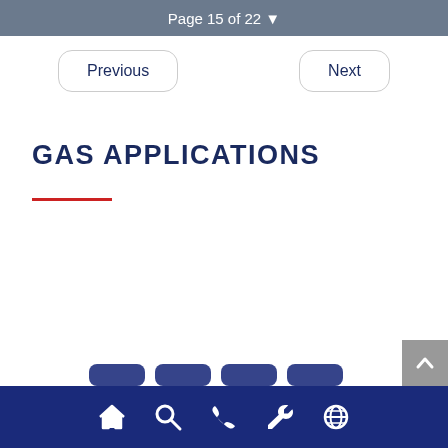Page 15 of 22
Previous | Next
GAS APPLICATIONS
Navigation icons: home, search, phone, wrench, globe